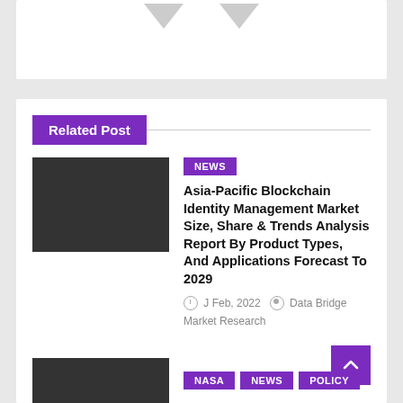Related Post
[Figure (photo): Dark thumbnail image for related post]
Asia-Pacific Blockchain Identity Management Market Size, Share & Trends Analysis Report By Product Types, And Applications Forecast To 2029
J Feb, 2022   Data Bridge Market Research
[Figure (photo): Dark thumbnail image for second related post]
NASA   NEWS   POLICY